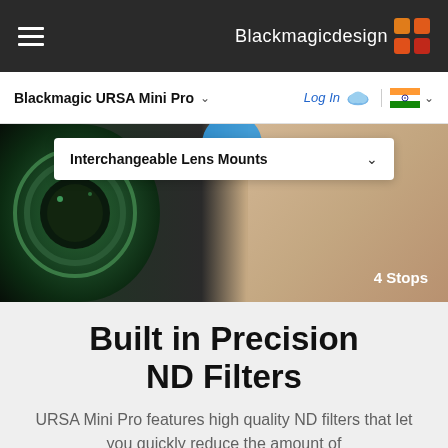Blackmagicdesign
Blackmagic URSA Mini Pro
Log In
[Figure (screenshot): Product page hero image showing camera lens on left and person on bed on right, with 'Interchangeable Lens Mounts' dropdown overlay and '4 Stops' label]
Built in Precision ND Filters
URSA Mini Pro features high quality ND filters that let you quickly reduce the amount of